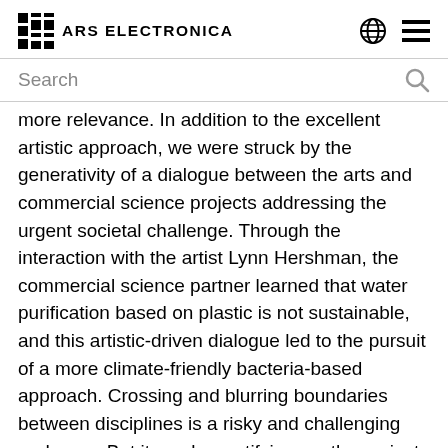ARS ELECTRONICA
Search
more relevance. In addition to the excellent artistic approach, we were struck by the generativity of a dialogue between the arts and commercial science projects addressing the urgent societal challenge. Through the interaction with the artist Lynn Hershman, the commercial science partner learned that water purification based on plastic is not sustainable, and this artistic-driven dialogue led to the pursuit of a more climate-friendly bacteria-based approach. Crossing and blurring boundaries between disciplines is a risky and challenging endeavor. But it can be gratifying, as the project Twisted Gravity amply demonstrates.